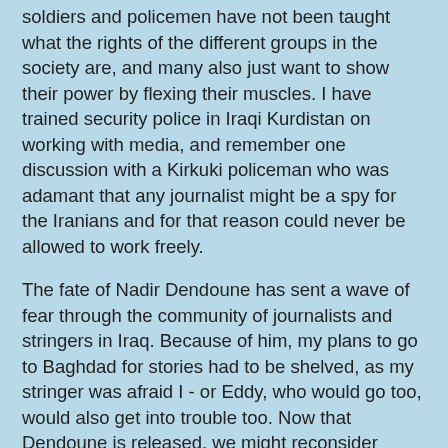soldiers and policemen have not been taught what the rights of the different groups in the society are, and many also just want to show their power by flexing their muscles. I have trained security police in Iraqi Kurdistan on working with media, and remember one discussion with a Kirkuki policeman who was adamant that any journalist might be a spy for the Iranians and for that reason could never be allowed to work freely.
The fate of Nadir Dendoune has sent a wave of fear through the community of journalists and stringers in Iraq. Because of him, my plans to go to Baghdad for stories had to be shelved, as my stringer was afraid I - or Eddy, who would go too, would also get into trouble too. Now that Dendoune is released, we might reconsider again.
We are waiting for his story though. The news is that 'the journalist is in good health'. What does that sentence mean, after three weeks in an Iraqi prison? Although they are said to be better than ten years ago, it cannot be a very nice place to be.